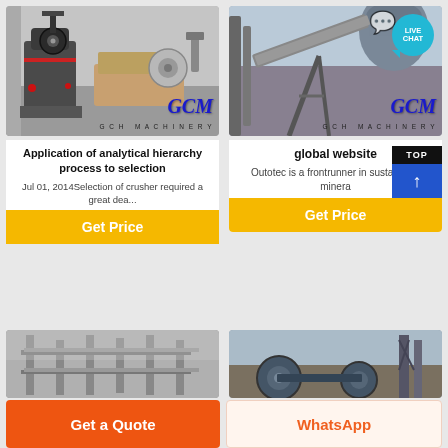[Figure (photo): GCM industrial grinding mill machinery in a warehouse setting. GCM logo and GCH MACHINERY text visible.]
Application of analytical hierarchy process to selection
Jul 01, 2014Selection of crusher required a great dea...
Get Price
[Figure (photo): GCM industrial mining/minerals processing site with conveyor and large machinery. LIVE CHAT badge visible. GCM logo and GCH MACHINERY text visible.]
global website
Outotec is a frontrunner in sustainable minera
Get Price
[Figure (photo): Industrial plant/factory structure with metal framework (partial, bottom of page)]
[Figure (photo): Mining equipment with large pipes/pulleys at outdoor site (partial, bottom of page)]
Get a Quote
WhatsApp